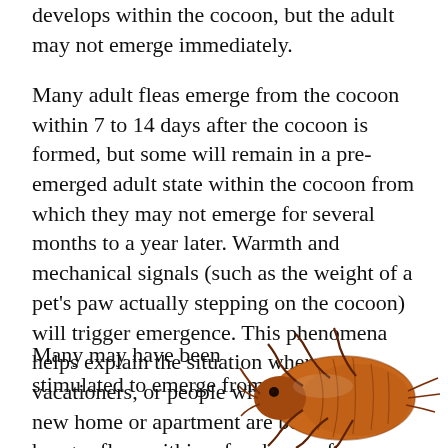develops within the cocoon, but the adult may not emerge immediately.
Many adult fleas emerge from the cocoon within 7 to 14 days after the cocoon is formed, but some will remain in a pre-emerged adult state within the cocoon from which they may not emerge for several months to a year later. Warmth and mechanical signals (such as the weight of a pet's paw actually stepping on the cocoon) will trigger emergence. This phenomena helps explain the situation where vacationers, or people who move into a new home or apartment are besieged by hungry fleas within a few hours after returning to their home or moving into new premises. Hungry adult fleas may have been present for some time in the premises.
Many may have been stimulated to emerge from
[Figure (illustration): Close-up illustration of a flea (brown/orange tones), showing the insect's segmented body, legs, and head in profile view.]